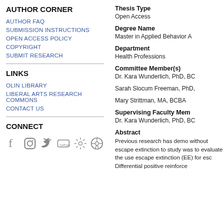AUTHOR CORNER
AUTHOR FAQ
SUBMISSION INSTRUCTIONS
OPEN ACCESS POLICY
COPYRIGHT
SUBMIT RESEARCH
LINKS
OLIN LIBRARY
LIBERAL ARTS RESEARCH COMMONS
CONTACT US
CONNECT
[Figure (illustration): Social media icons: Facebook, Instagram, Twitter, YouTube, a sunburst/feed icon, WordPress]
Thesis Type
Open Access
Degree Name
Master in Applied Behavior A
Department
Health Professions
Committee Member(s)
Dr. Kara Wunderlich, PhD, BC
Sarah Slocum Freeman, PhD,
Mary Strittman, MA, BCBA
Supervising Faculty Mem
Dr. Kara Wunderlich, PhD, BC
Abstract
Previous research has demo without escape extinction to study was to evaluate the use escape extinction (EE) for esc Differential positive reinforce